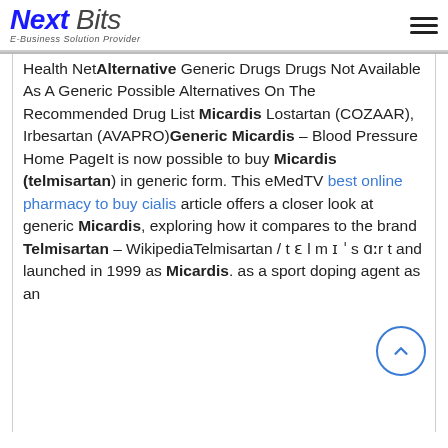Next Bits - E-Business Solution Provider
Health Net Alternative Generic Drugs Drugs Not Available As A Generic Possible Alternatives On The Recommended Drug List Micardis Lostartan (COZAAR), Irbesartan (AVAPRO) Generic Micardis – Blood Pressure Home PageIt is now possible to buy Micardis (telmisartan) in generic form. This eMedTV best online pharmacy to buy cialis article offers a closer look at generic Micardis, exploring how it compares to the brand Telmisartan – WikipediaTelmisartan / t ɛ l m ɪ ˈ s ɑːr t and launched in 1999 as Micardis. as a sport doping agent as an